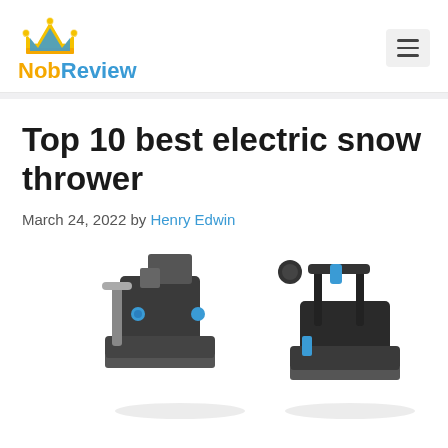NobReview
Top 10 best electric snow thrower
March 24, 2022 by Henry Edwin
[Figure (photo): Photo of electric snow thrower machines, showing two units with grey/black bodies and blue accent handles/components, partially cropped at bottom of page]